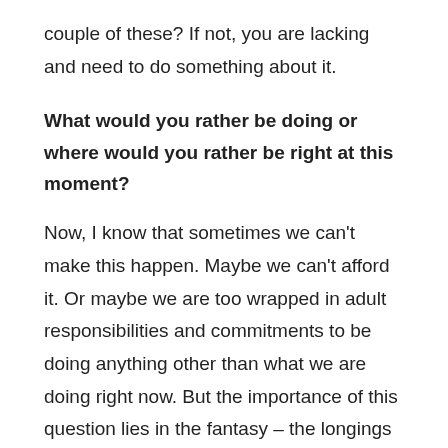couple of these? If not, you are lacking and need to do something about it.
What would you rather be doing or where would you rather be right at this moment?
Now, I know that sometimes we can't make this happen. Maybe we can't afford it. Or maybe we are too wrapped in adult responsibilities and commitments to be doing anything other than what we are doing right now. But the importance of this question lies in the fantasy – the longings and stirrings of unmet needs, wants and desires that loiter in the depth of our hearts. The question points to what might be missing or ignored that at some point, needs our attention. Or it will lead to resentment, acting out, emotional apathy, depression